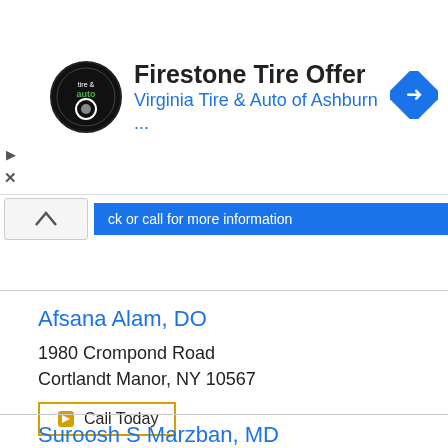[Figure (logo): Firestone/Virginia Tire & Auto advertisement banner with circular black logo, 'Firestone Tire Offer' heading, 'Virginia Tire & Auto of Ashburn ...' subtitle, and blue diamond navigation icon]
ck or call for more information
Afsana Alam, DO
1980 Crompond Road
Cortlandt Manor, NY 10567
Call Today
Suroosh S Marzban, MD
1980 Crompond Road
Cortlandt Manor, NY 10567
Call Today